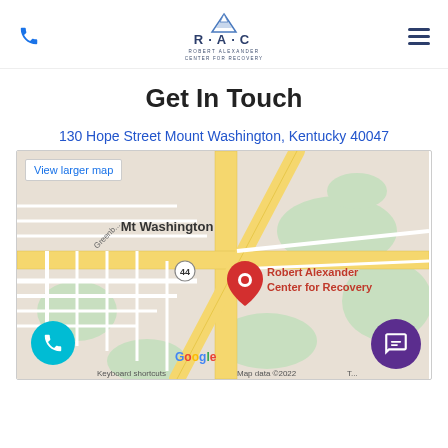[Figure (logo): RAC Robert Alexander Center for Recovery logo with mountain graphic]
Get In Touch
130 Hope Street Mount Washington, Kentucky 40047
[Figure (map): Google Map showing Mt Washington, Kentucky with a red pin marker for Robert Alexander Center for Recovery. Map shows roads, neighborhoods, and a label 'Robert Alexander Center for Recovery'. Map data ©2022. Keyboard shortcuts link visible at bottom.]